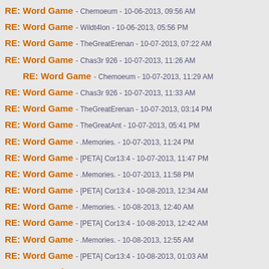RE: Word Game - Chemoeum - 10-06-2013, 09:56 AM
RE: Word Game - Wildt4lon - 10-06-2013, 05:56 PM
RE: Word Game - TheGreatErenan - 10-07-2013, 07:22 AM
RE: Word Game - Chas3r 926 - 10-07-2013, 11:26 AM
RE: Word Game - Chemoeum - 10-07-2013, 11:29 AM
RE: Word Game - Chas3r 926 - 10-07-2013, 11:33 AM
RE: Word Game - TheGreatErenan - 10-07-2013, 03:14 PM
RE: Word Game - TheGreatAnt - 10-07-2013, 05:41 PM
RE: Word Game - .Memories. - 10-07-2013, 11:24 PM
RE: Word Game - [PETA] Cor13:4 - 10-07-2013, 11:47 PM
RE: Word Game - .Memories. - 10-07-2013, 11:58 PM
RE: Word Game - [PETA] Cor13:4 - 10-08-2013, 12:34 AM
RE: Word Game - .Memories. - 10-08-2013, 12:40 AM
RE: Word Game - [PETA] Cor13:4 - 10-08-2013, 12:42 AM
RE: Word Game - .Memories. - 10-08-2013, 12:55 AM
RE: Word Game - [PETA] Cor13:4 - 10-08-2013, 01:03 AM
RE: Word Game - Chemoeum - 10-08-2013, 04:58 AM
RE: Word Game - [PETA] Cor13:4 - 10-08-2013, 05:21 AM
RE: Word Game - TheGoldenGriffin - 10-08-2013, 06:43 AM
RE: Word Game - TheGreatErenan - 10-08-2013, 07:09 AM
RE: Word Game - TheGoldenGriffin - 10-08-2013, 12:42 PM
RE: Word Game - TheGreatErenan - 10-09-2013, 02:07 AM